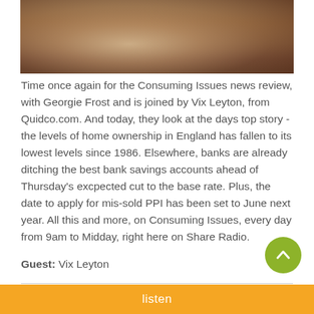[Figure (photo): Photo of a person with long blonde/brown hair, partially cropped at the top of the page]
Time once again for the Consuming Issues news review, with Georgie Frost and is joined by Vix Leyton, from Quidco.com. And today, they look at the days top story - the levels of home ownership in England has fallen to its lowest levels since 1986. Elsewhere, banks are already ditching the best bank savings accounts ahead of Thursday's excpected cut to the base rate. Plus, the date to apply for mis-sold PPI has been set to June next year. All this and more, on Consuming Issues, every day from 9am to Midday, right here on Share Radio.
Guest: Vix Leyton
Published: Tue 02 Aug 2016
Listen